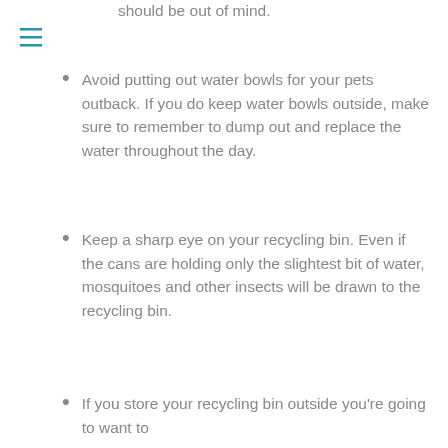should be out of mind.
[Figure (other): Hamburger menu icon with three horizontal teal/blue lines]
Avoid putting out water bowls for your pets outback. If you do keep water bowls outside, make sure to remember to dump out and replace the water throughout the day.
Keep a sharp eye on your recycling bin. Even if the cans are holding only the slightest bit of water, mosquitoes and other insects will be drawn to the recycling bin.
If you store your recycling bin outside you're going to want to